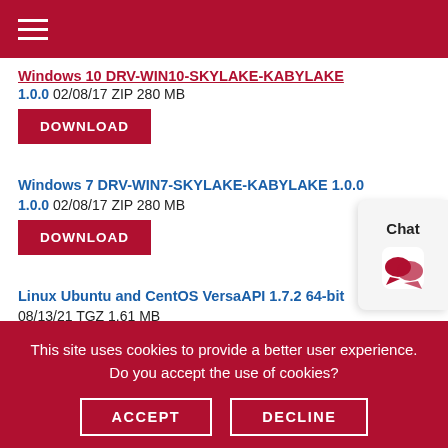Windows 10 DRV-WIN10-SKYLAKE-KABYLAKE (truncated/partial)
1.0.0 02/08/17 ZIP 280 MB
DOWNLOAD
Windows 7 DRV-WIN7-SKYLAKE-KABYLAKE 1.0.0
1.0.0 02/08/17 ZIP 280 MB
DOWNLOAD
Linux Ubuntu and CentOS VersaAPI 1.7.2 64-bit
08/13/21 TGZ 1.61 MB
DOWNLOAD
This site uses cookies to provide a better user experience. Do you accept the use of cookies?
ACCEPT
DECLINE